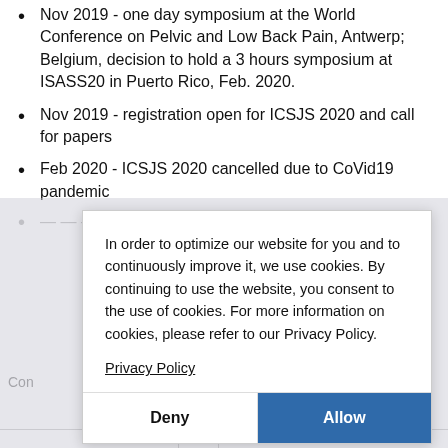Nov 2019 - one day symposium at the World Conference on Pelvic and Low Back Pain, Antwerp; Belgium, decision to hold a 3 hours symposium at ISASS20 in Puerto Rico, Feb. 2020.
Nov 2019 - registration open for ICSJS 2020 and call for papers
Feb 2020 - ICSJS 2020 cancelled due to CoVid19 pandemic
In order to optimize our website for you and to continuously improve it, we use cookies. By continuing to use the website, you consent to the use of cookies. For more information on cookies, please refer to our Privacy Policy.
Privacy Policy